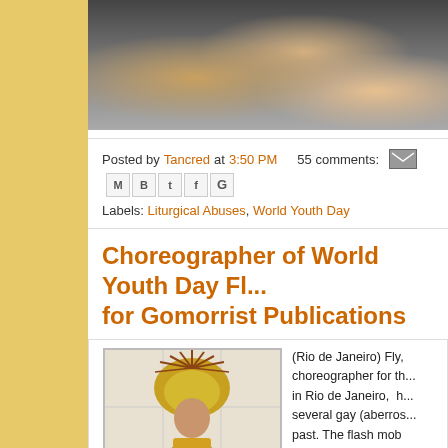[Figure (photo): Crowd of people at an outdoor event, hands raised, person in orange shirt and white cap visible]
Posted by Tancred at 3:50 PM   55 comments:
Labels: Liturgical Abuses, World Youth Day
Choreographer of World Youth Day Fl... for Gomorrist Publications
[Figure (photo): Man wearing elaborate feathered headdress and decorative costume, shirtless]
(Rio de Janeiro) Fly, choreographer for th... in Rio de Janeiro,  h... several gay (aberros... past. The flash mob him in the dancing, i... choreography of the... the famous controve... around the world wit...